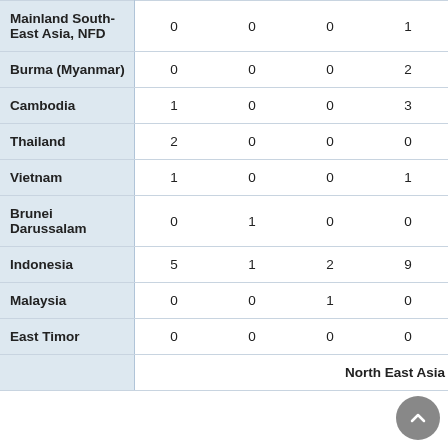|  | Col1 | Col2 | Col3 | Col4 | Col5 |
| --- | --- | --- | --- | --- | --- |
| Mainland South-East Asia, NFD | 0 | 0 | 0 | 1 | 0 |
| Burma (Myanmar) | 0 | 0 | 0 | 2 | 0 |
| Cambodia | 1 | 0 | 0 | 3 | 0 |
| Thailand | 2 | 0 | 0 | 0 | 0 |
| Vietnam | 1 | 0 | 0 | 1 | 0 |
| Brunei Darussalam | 0 | 1 | 0 | 0 | 0 |
| Indonesia | 5 | 1 | 2 | 9 | 1 |
| Malaysia | 0 | 0 | 1 | 0 | 0 |
| East Timor | 0 | 0 | 0 | 0 | 1 |
|  |  |  | North East Asia |  |  |